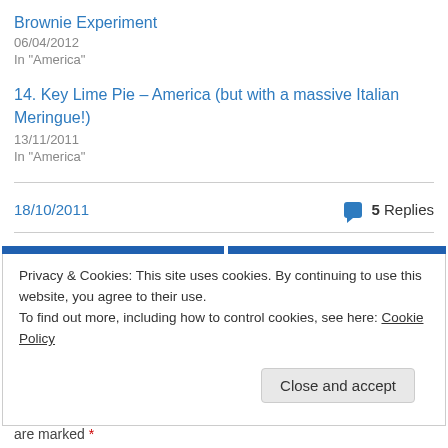Brownie Experiment
06/04/2012
In "America"
14. Key Lime Pie – America (but with a massive Italian Meringue!)
13/11/2011
In "America"
18/10/2011
5 Replies
Privacy & Cookies: This site uses cookies. By continuing to use this website, you agree to their use.
To find out more, including how to control cookies, see here: Cookie Policy
Close and accept
are marked *